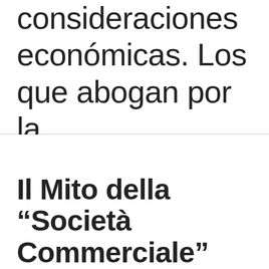consideraciones económicas. Los que abogan por la...
Il Mito della “Società Commerciale”